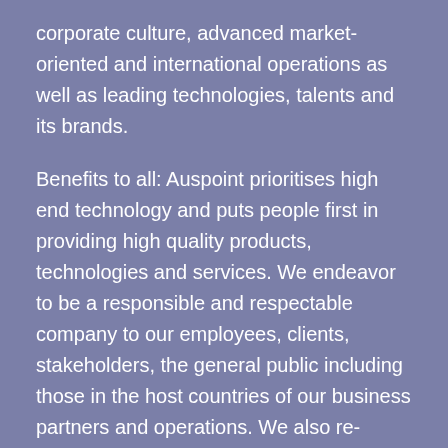corporate culture, advanced market-oriented and international operations as well as leading technologies, talents and its brands.
Benefits to all: Auspoint prioritises high end technology and puts people first in providing high quality products, technologies and services. We endeavor to be a responsible and respectable company to our employees, clients, stakeholders, the general public including those in the host countries of our business partners and operations. We also re-invest in local communities in close proximity to our operations by proactively getting involved in various corporate social responsibility